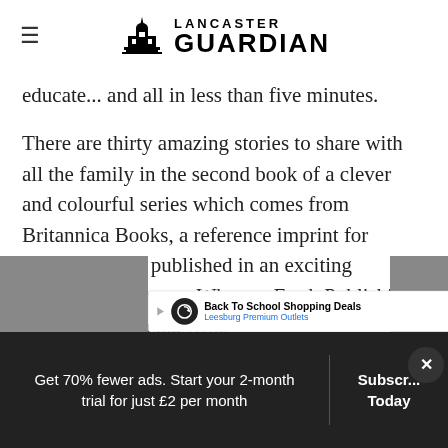Lancaster Guardian
crammed full of stories to share, entertain and educate... and all in less than five minutes.
There are thirty amazing stories to share with all the family in the second book of a clever and colourful series which comes from Britannica Books, a reference imprint for young readers, published in an exciting partnership between What on Earth Publishing and Encyclopaedia Brita...
[Figure (screenshot): Advertisement banner: Back To School Shopping Deals - Leesburg Premium Outlets]
Get 70% fewer ads. Start your 2-month trial for just £2 per month
Subscribe Today